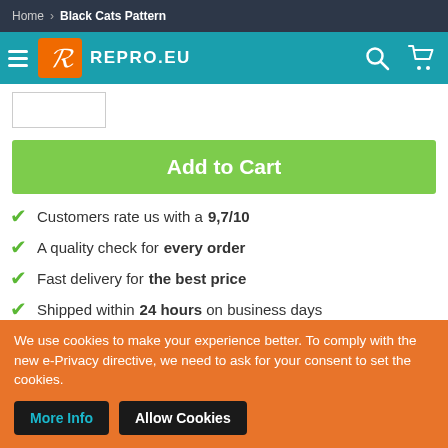Home > Black Cats Pattern
[Figure (logo): REPRO.EU logo with orange fox icon and teal navigation bar with hamburger menu, search and cart icons]
[Figure (other): Small product image placeholder box]
Add to Cart
Customers rate us with a 9,7/10
A quality check for every order
Fast delivery for the best price
Shipped within 24 hours on business days
We use cookies to make your experience better. To comply with the new e-Privacy directive, we need to ask for your consent to set the cookies.
More Info  Allow Cookies